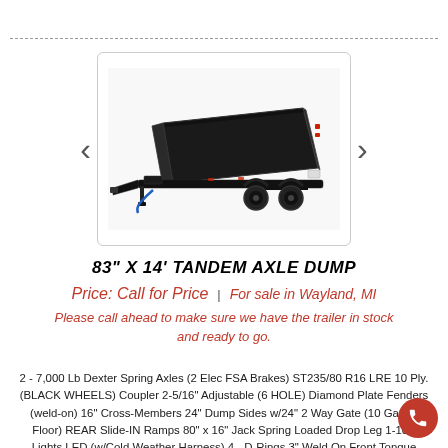[Figure (photo): Black tandem axle dump trailer with high sides and blue hydraulic hose, shown at an angle from the front-left side]
83" X 14' TANDEM AXLE DUMP
Price: Call for Price | For sale in Wayland, MI
Please call ahead to make sure we have the trailer in stock and ready to go.
2 - 7,000 Lb Dexter Spring Axles (2 Elec FSA Brakes) ST235/80 R16 LRE 10 Ply. (BLACK WHEELS) Coupler 2-5/16" Adjustable (6 HOLE) Diamond Plate Fenders (weld-on) 16" Cross-Members 24" Dump Sides w/24" 2 Way Gate (10 Gauge Floor) REAR Slide-IN Ramps 80" x 16" Jack Spring Loaded Drop Leg 1-10K Lights LED (w/Cold Weather Harness) 4 - D-Rings 3" Weld On Front Tongue Mount Tool Box Scissor Hoist